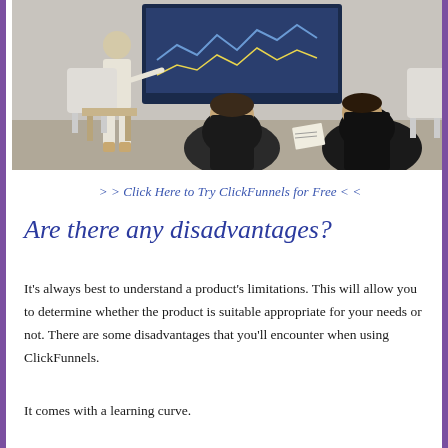[Figure (photo): Business presentation scene: a presenter in white clothes standing at a screen showing charts/graphs, with two men in dark suits seated with their backs to the viewer, one holding papers]
> > Click Here to Try ClickFunnels for Free < <
Are there any disadvantages?
It’s always best to understand a product’s limitations. This will allow you to determine whether the product is suitable appropriate for your needs or not. There are some disadvantages that you’ll encounter when using ClickFunnels.
It comes with a learning curve.